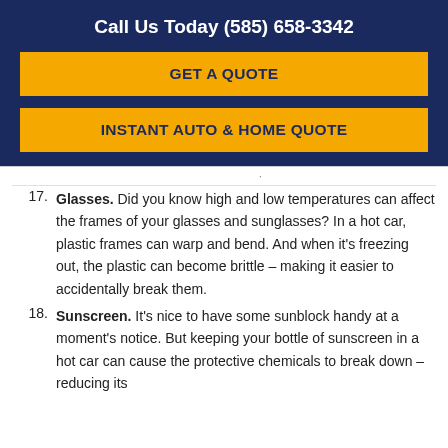Call Us Today (585) 658-3342
GET A QUOTE
INSTANT AUTO & HOME QUOTE
17. Glasses. Did you know high and low temperatures can affect the frames of your glasses and sunglasses? In a hot car, plastic frames can warp and bend. And when it's freezing out, the plastic can become brittle – making it easier to accidentally break them.
18. Sunscreen. It's nice to have some sunblock handy at a moment's notice. But keeping your bottle of sunscreen in a hot car can cause the protective chemicals to break down – reducing its